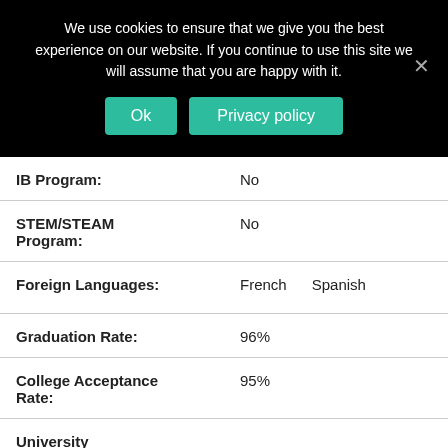We use cookies to ensure that we give you the best experience on our website. If you continue to use this site we will assume that you are happy with it.
Ok | Privacy policy
| Field | Value |
| --- | --- |
| IB Program: | No |
| STEM/STEAM Program: | No |
| Foreign Languages: | French    Spanish |
| Graduation Rate: | 96% |
| College Acceptance Rate: | 95% |
| University |  |